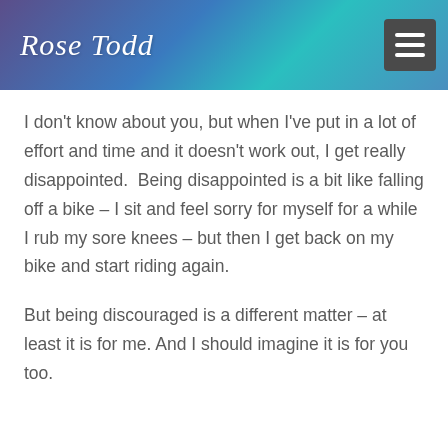Rose Todd
I don't know about you, but when I've put in a lot of effort and time and it doesn't work out, I get really disappointed.  Being disappointed is a bit like falling off a bike – I sit and feel sorry for myself for a while I rub my sore knees – but then I get back on my bike and start riding again.
But being discouraged is a different matter – at least it is for me. And I should imagine it is for you too.